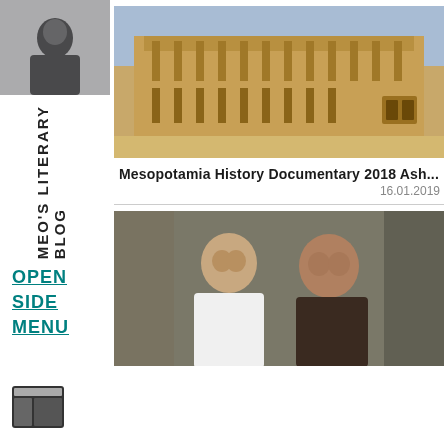[Figure (photo): Sidebar avatar photo of a person in dark clothing against a light/snowy background]
MEO'S LITERARY BLOG
OPEN
SIDE
MENU
[Figure (screenshot): Layout/grid icon in sidebar]
[Figure (photo): Photo of an ancient Middle Eastern fortress/palace building with sandy stone walls and decorative niches, blue sky background - Mesopotamia History Documentary 2018]
Mesopotamia History Documentary 2018 Ash...
16.01.2019
[Figure (photo): Photo of two men, one in white shirt and one in dark clothing, appearing to be in a workshop or office setting]